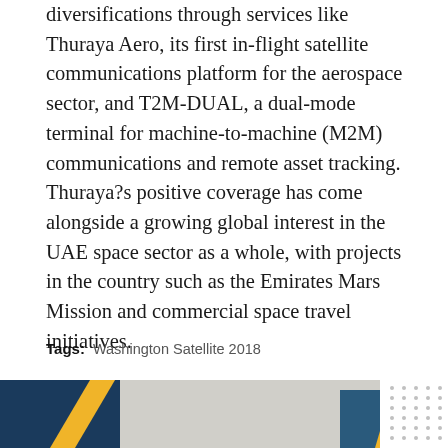diversifications through services like Thuraya Aero, its first in-flight satellite communications platform for the aerospace sector, and T2M-DUAL, a dual-mode terminal for machine-to-machine (M2M) communications and remote asset tracking. Thuraya?s positive coverage has come alongside a growing global interest in the UAE space sector as a whole, with projects in the country such as the Emirates Mars Mission and commercial space travel initiatives.
Tags: Washington Satellite 2018
[Figure (photo): Bottom portion of a page showing a partial banner image with dark blue and orange/yellow diagonal design elements on a light grey background, with a dotted pattern on the right side]